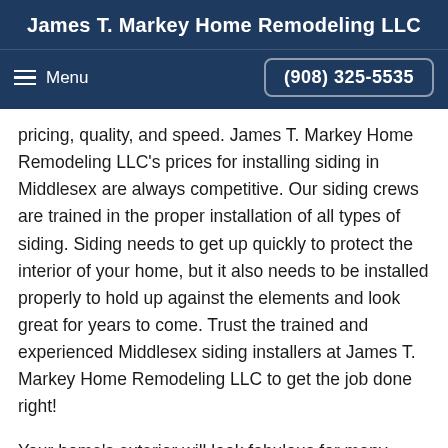James T. Markey Home Remodeling LLC
Menu  (908) 325-5535
pricing, quality, and speed. James T. Markey Home Remodeling LLC's prices for installing siding in Middlesex are always competitive. Our siding crews are trained in the proper installation of all types of siding. Siding needs to get up quickly to protect the interior of your home, but it also needs to be installed properly to hold up against the elements and look great for years to come. Trust the trained and experienced Middlesex siding installers at James T. Markey Home Remodeling LLC to get the job done right!
Your home's exterior will look fabulous for many years with today's modern siding installed by James T. Markey Remodeling LLC. With a wide selection of products the trained staff to handle the installation, you will be in